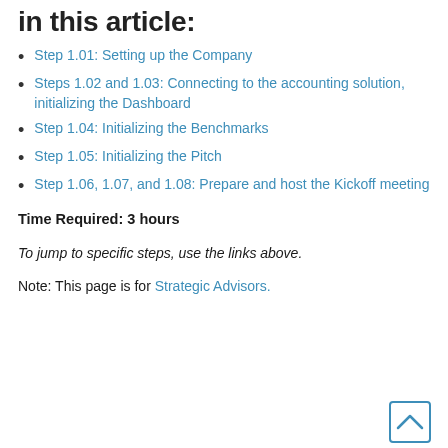in this article:
Step 1.01: Setting up the Company
Steps 1.02 and 1.03: Connecting to the accounting solution, initializing the Dashboard
Step 1.04: Initializing the Benchmarks
Step 1.05: Initializing the Pitch
Step 1.06, 1.07, and 1.08: Prepare and host the Kickoff meeting
Time Required: 3 hours
To jump to specific steps, use the links above.
Note: This page is for Strategic Advisors.